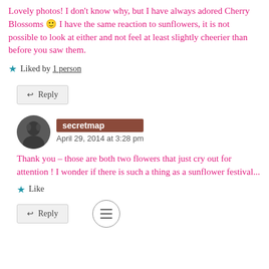Lovely photos! I don't know why, but I have always adored Cherry Blossoms 🙂 I have the same reaction to sunflowers, it is not possible to look at either and not feel at least slightly cheerier than before you saw them.
★ Liked by 1 person
↩ Reply
secretmap — April 29, 2014 at 3:28 pm
Thank you – those are both two flowers that just cry out for attention ! I wonder if there is such a thing as a sunflower festival...
★ Like
↩ Reply